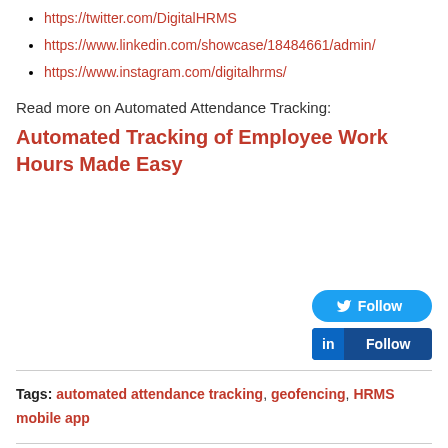https://twitter.com/DigitalHRMS
https://www.linkedin.com/showcase/18484661/admin/
https://www.instagram.com/digitalhrms/
Read more on Automated Attendance Tracking:
Automated Tracking of Employee Work Hours Made Easy
Tags: automated attendance tracking, geofencing, HRMS mobile app
WRITE A COMMENT